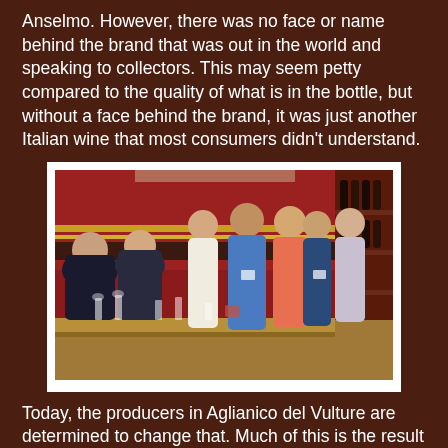Anselmo. However, there was no face or name behind the brand that was out in the world and speaking to collectors. This may seem petty compared to the quality of what is in the bottle, but without a face behind the brand, it was just another Italian wine that most consumers didn't understand.
[Figure (photo): A group of people gathered around a long table set with wine glasses at what appears to be a wine tasting event. Several people are standing, including a man in a blue shirt and a woman in white. The room has red walls with gold stripes and wine bottles on shelves in the background.]
Today, the producers in Aglianico del Vulture are determined to change that. Much of this is the result of the new generation that is taking on more responsibility in the wineries, or taking over completely. The simple fact that these producers have put so much energy into a large showing of wines and personally attending Collisioni is a huge point in their corner. They have attended the event with